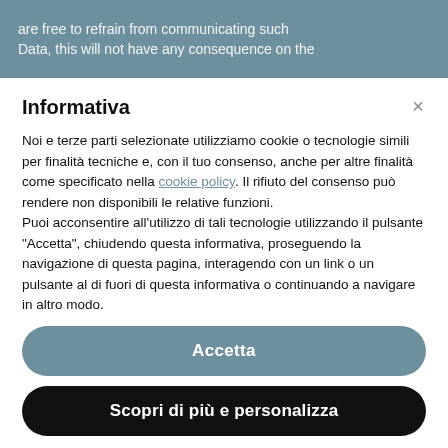are free to refrain from communicating such Data, this will not have any consequence on the
Informativa
Noi e terze parti selezionate utilizziamo cookie o tecnologie simili per finalità tecniche e, con il tuo consenso, anche per altre finalità come specificato nella cookie policy. Il rifiuto del consenso può rendere non disponibili le relative funzioni.
Puoi acconsentire all'utilizzo di tali tecnologie utilizzando il pulsante “Accetta”, chiudendo questa informativa, proseguendo la navigazione di questa pagina, interagendo con un link o un pulsante al di fuori di questa informativa o continuando a navigare in altro modo.
Accetta
Scopri di più e personalizza